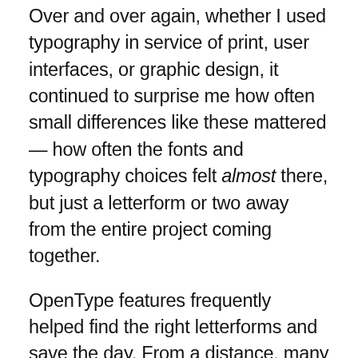Over and over again, whether I used typography in service of print, user interfaces, or graphic design, it continued to surprise me how often small differences like these mattered — how often the fonts and typography choices felt almost there, but just a letterform or two away from the entire project coming together.
OpenType features frequently helped find the right letterforms and save the day. From a distance, many of them appeared trivial and disposable — but just like seasoning, they became something no typographic dish could really live without. Sometimes one feature was as simple as a pinch of salt on watermelon, or nutmeg added to sautéed kale: undetectable as its own flavor, but in combination with the right ingredients...